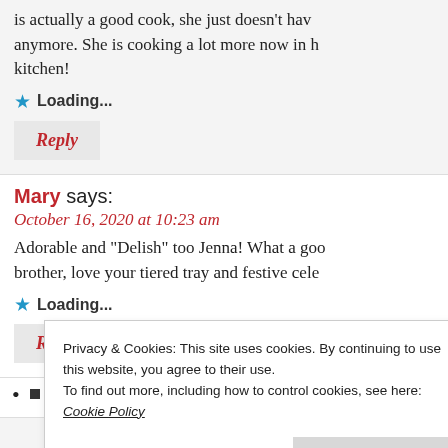is actually a good cook, she just doesn't have anymore. She is cooking a lot more now in her kitchen!
Loading...
Reply
Mary says: October 16, 2020 at 10:23 am
Adorable and “Delish” too Jenna! What a good brother, love your tiered tray and festive cele
Loading...
Reply
Privacy & Cookies: This site uses cookies. By continuing to use this website, you agree to their use.
To find out more, including how to control cookies, see here: Cookie Policy
Close and accept